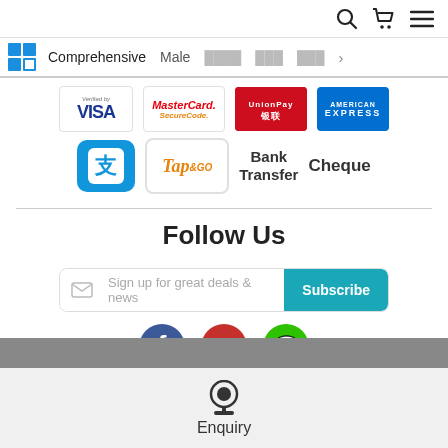Navigation bar with search, cart, and menu icons; logo with Comprehensive, Male, and other nav items
[Figure (logo): Payment method logos: Verified by VISA, MasterCard SecureCode, UnionPay, American Express, Alipay, Tap&Go, Bank Transfer, Cheque]
Follow Us
Sign up for great deals & news
[Figure (infographic): Social media icons: Facebook (blue circle), YouTube (red circle), WeChat (green circle)]
Enquiry